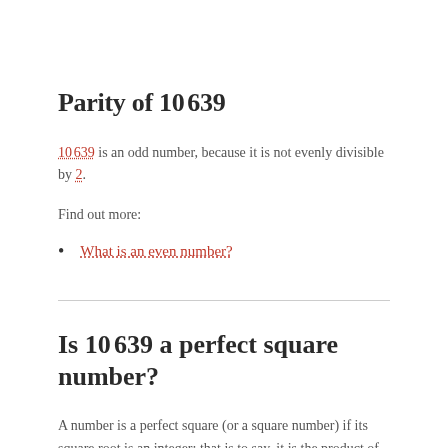Parity of 10 639
10 639 is an odd number, because it is not evenly divisible by 2.
Find out more:
What is an even number?
Is 10 639 a perfect square number?
A number is a perfect square (or a square number) if its square root is an integer; that is to say, it is the product of an integer with itself. Here, the square root of 10 639 is about 103.146.